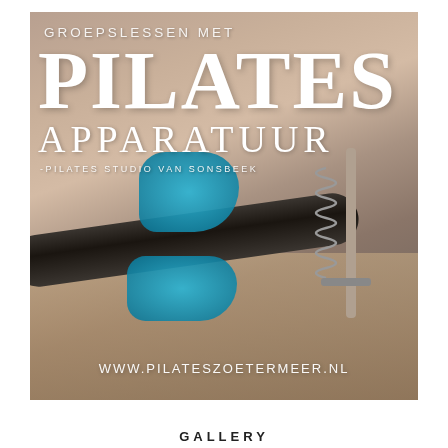[Figure (photo): Advertisement image showing blue toe socks on feet using Pilates reformer equipment (dark cylindrical bar with springs visible). Sepia-toned photo with bright blue accent socks. Text overlay reads: GROEPSLESSEN MET PILATES APPARATUUR -PILATES STUDIO VAN SONSBEEK and website www.pilateszoetermeer.nl]
GALLERY